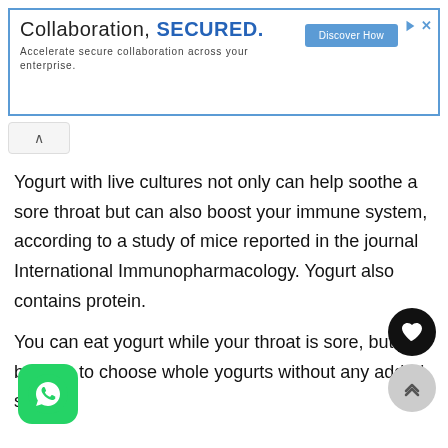[Figure (screenshot): Advertisement banner: 'Collaboration, SECURED.' with blue border and a 'Discover How' button]
Yogurt with live cultures not only can help soothe a sore throat but can also boost your immune system, according to a study of mice reported in the journal International Immunopharmacology. Yogurt also contains protein.
You can eat yogurt while your throat is sore, but just be sure to choose whole yogurts without any added sugars.
[Figure (illustration): Black circular heart/like button]
[Figure (illustration): Gray circular scroll-up button with double chevron]
[Figure (logo): WhatsApp green icon with phone/chat symbol]